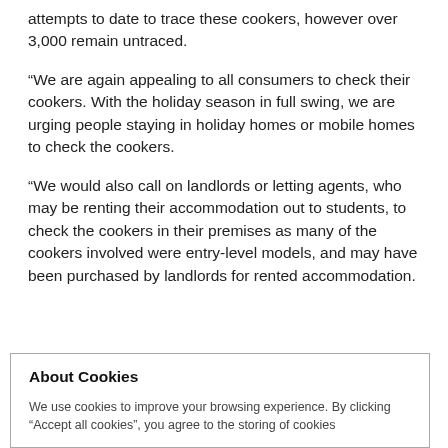attempts to date to trace these cookers, however over 3,000 remain untraced.
“We are again appealing to all consumers to check their cookers. With the holiday season in full swing, we are urging people staying in holiday homes or mobile homes to check the cookers.
“We would also call on landlords or letting agents, who may be renting their accommodation out to students, to check the cookers in their premises as many of the cookers involved were entry-level models, and may have been purchased by landlords for rented accommodation.
About Cookies
We use cookies to improve your browsing experience. By clicking “Accept all cookies”, you agree to the storing of cookies